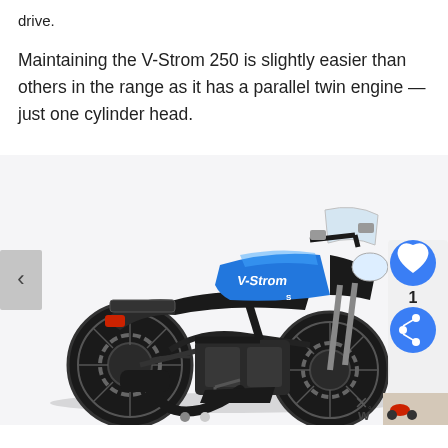drive.
Maintaining the V-Strom 250 is slightly easier than others in the range as it has a parallel twin engine — just one cylinder head.
[Figure (photo): Blue and black Suzuki V-Strom 250 adventure motorcycle shown in side profile against a white background. The bike features blue fuel tank with V-Strom branding, black bodywork, spoked wheels, and a windscreen. UI overlay elements visible: left navigation arrow, heart/favourite button (blue circle), share button (blue circle), count badge showing '1', close X button, small thumbnail image at bottom right, dots navigation indicator, and W logo.]